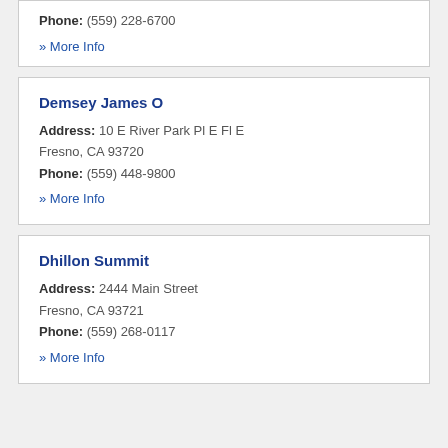Phone: (559) 228-6700
» More Info
Demsey James O
Address: 10 E River Park Pl E Fl E
Fresno, CA 93720
Phone: (559) 448-9800
» More Info
Dhillon Summit
Address: 2444 Main Street
Fresno, CA 93721
Phone: (559) 268-0117
» More Info